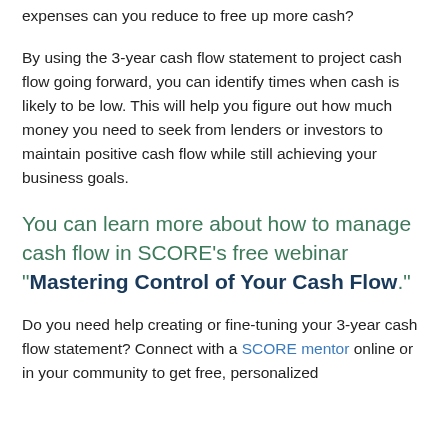expenses can you reduce to free up more cash?
By using the 3-year cash flow statement to project cash flow going forward, you can identify times when cash is likely to be low. This will help you figure out how much money you need to seek from lenders or investors to maintain positive cash flow while still achieving your business goals.
You can learn more about how to manage cash flow in SCORE’s free webinar “Mastering Control of Your Cash Flow.”
Do you need help creating or fine-tuning your 3-year cash flow statement? Connect with a SCORE mentor online or in your community to get free, personalized